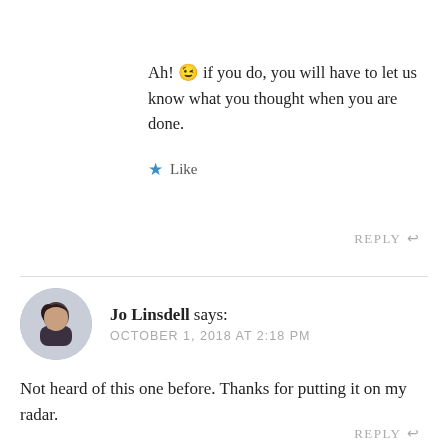Ah! 😉 if you do, you will have to let us know what you thought when you are done.
★ Like
REPLY ↩
Jo Linsdell says: OCTOBER 1, 2018 AT 2:18 PM
Not heard of this one before. Thanks for putting it on my radar.
★ Liked by 1 person
REPLY ↩